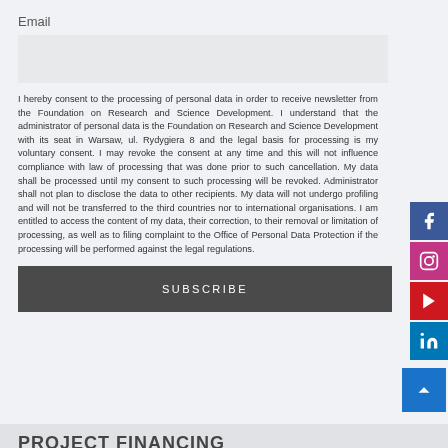Email
[Figure (other): Email input field box (light gray rectangle)]
I hereby consent to the processing of personal data in order to receive newsletter from the Foundation on Research and Science Development. I understand that the administrator of personal data is the Foundation on Research and Science Development with its seat in Warsaw, ul. Rydygiera 8 and the legal basis for processing is my voluntary consent. I may revoke the consent at any time and this will not influence compliance with law of processing that was done prior to such cancellation. My data shall be processed until my consent to such processing will be revoked. Administrator shall not plan to disclose the data to other recipients. My data will not undergo profiling and will not be transferred to the third countries nor to international organisations. I am entitled to access the content of my data, their correction, to their removal or limitation of processing, as well as to filing complaint to the Office of Personal Data Protection if the processing will be performed against the legal regulations.
SUBSCRIBE
PROJECT FINANCING